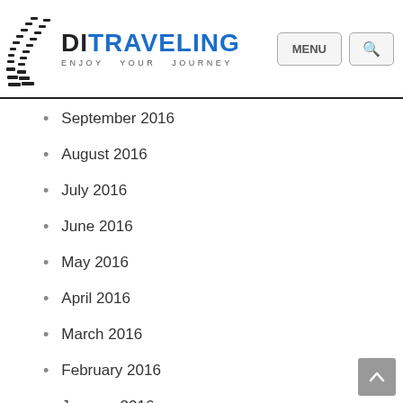[Figure (logo): DI Traveling blog logo with tire track graphic and tagline 'ENJOY YOUR JOURNEY']
September 2016
August 2016
July 2016
June 2016
May 2016
April 2016
March 2016
February 2016
January 2016
December 2015
November 2015
October 2015